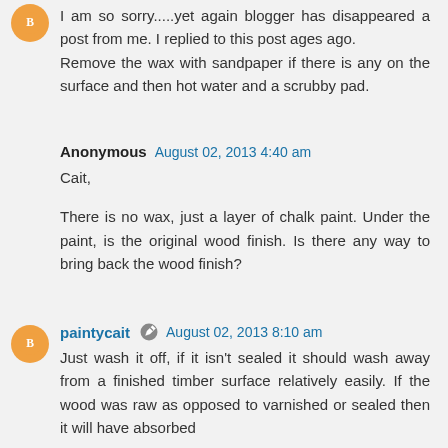I am so sorry.....yet again blogger has disappeared a post from me. I replied to this post ages ago.
Remove the wax with sandpaper if there is any on the surface and then hot water and a scrubby pad.
Anonymous  August 02, 2013 4:40 am
Cait,
There is no wax, just a layer of chalk paint. Under the paint, is the original wood finish. Is there any way to bring back the wood finish?
paintycait  August 02, 2013 8:10 am
Just wash it off, if it isn't sealed it should wash away from a finished timber surface relatively easily. If the wood was raw as opposed to varnished or sealed then it will have absorbed